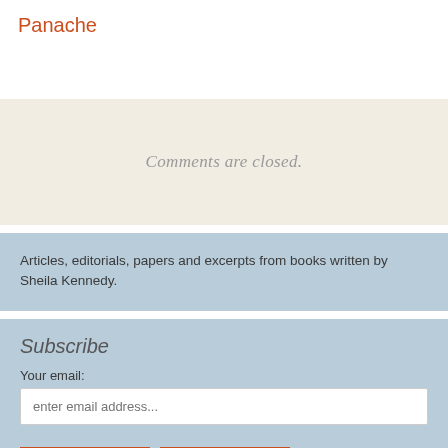Panache
Comments are closed.
Articles, editorials, papers and excerpts from books written by Sheila Kennedy.
Subscribe
Your email:
enter email address...
Subscribe
Unsubscribe